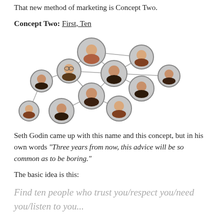That new method of marketing is Concept Two.
Concept Two: First, Ten
[Figure (network-graph): A network diagram showing interconnected people (faces in circles) connected by lines, illustrating social network connections.]
Seth Godin came up with this name and this concept, but in his own words "Three years from now, this advice will be so common as to be boring."
The basic idea is this:
Find ten people who trust you/respect you/need you/listen to you...